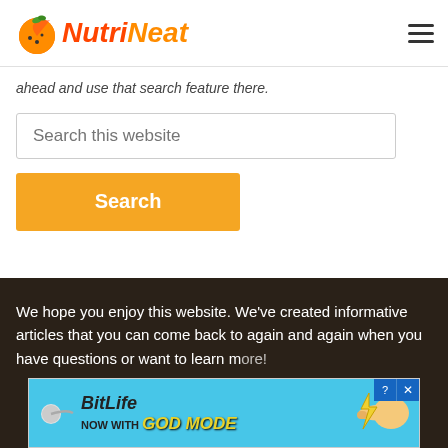NutriNeat
ahead and use that search feature there.
Search this website
Search
We hope you enjoy this website. We've created informative articles that you can come back to again and again when you have questions or want to learn more!
[Figure (screenshot): BitLife ad banner: 'NOW WITH GOD MODE' on a light blue background with a cartoon hand pointing.]